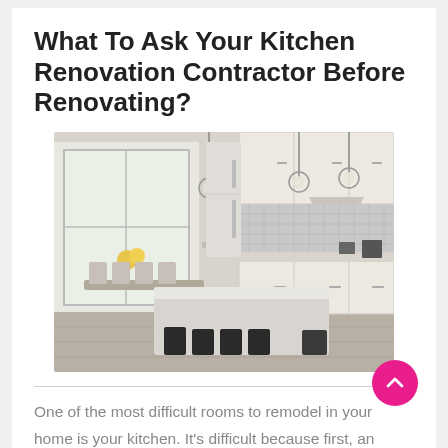What To Ask Your Kitchen Renovation Contractor Before Renovating?
[Figure (photo): Interior photo of a modern renovated kitchen with white cabinets, large kitchen island with bar stools, pendant lights, and a dining area visible in the background with sunflowers on the table.]
One of the most difficult rooms to remodel in your home is your kitchen. It’s difficult because first, an average kitchen remodeling project can cost you around $20,000 to $50,000 Read More …